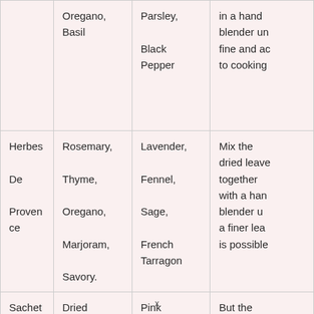|  | Oregano, Basil | Parsley, Black Pepper | in a hand blender un fine and ac to cooking |
| Herbes De Provence | Rosemary, Thyme, Oregano, Marjoram, Savory. | Lavender, Fennel, Sage, French Tarragon | Mix the dried leave together with a han blender u a finer lea is possible |
| Sachet D'epices | Dried Thyme, Bay Leave, | Pink Peppercorns, | But the dried leave |
x